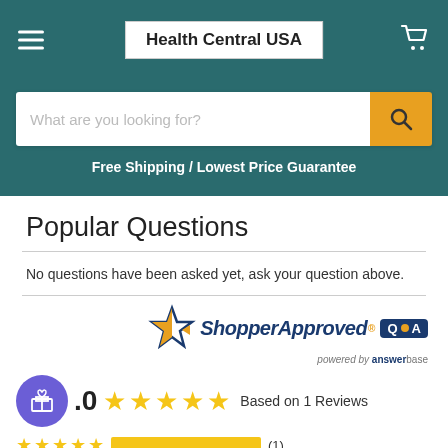Health Central USA
What are you looking for?
Free Shipping / Lowest Price Guarantee
Popular Questions
No questions have been asked yet, ask your question above.
[Figure (logo): Shopper Approved logo with orange star and Q&A box, powered by answerbase]
5.0 ★★★★★ Based on 1 Reviews
★★★★★ [yellow bar] (1)